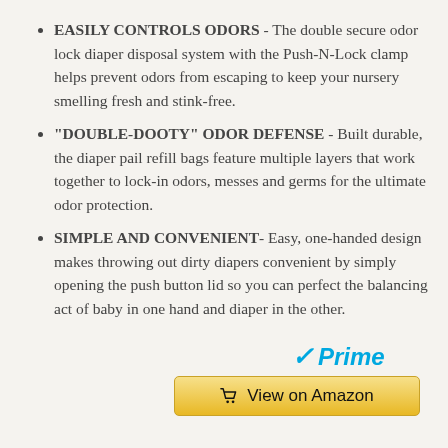EASILY CONTROLS ODORS - The double secure odor lock diaper disposal system with the Push-N-Lock clamp helps prevent odors from escaping to keep your nursery smelling fresh and stink-free.
“DOUBLE-DOOTY” ODOR DEFENSE - Built durable, the diaper pail refill bags feature multiple layers that work together to lock-in odors, messes and germs for the ultimate odor protection.
SIMPLE AND CONVENIENT- Easy, one-handed design makes throwing out dirty diapers convenient by simply opening the push button lid so you can perfect the balancing act of baby in one hand and diaper in the other.
[Figure (logo): Amazon Prime logo with checkmark and 'Prime' in blue italic text]
View on Amazon button